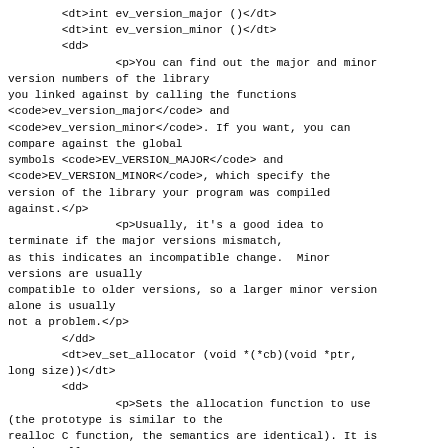<dt>int ev_version_major ()</dt>
<dt>int ev_version_minor ()</dt>
<dd>
    <p>You can find out the major and minor version numbers of the library you linked against by calling the functions ev_version_major and ev_version_minor. If you want, you can compare against the global symbols EV_VERSION_MAJOR and EV_VERSION_MINOR, which specify the version of the library your program was compiled against.</p>
    <p>Usually, it's a good idea to terminate if the major versions mismatch, as this indicates an incompatible change. Minor versions are usually compatible to older versions, so a larger minor version alone is usually not a problem.</p>
</dd>
<dt>ev_set_allocator (void *(*cb)(void *ptr, long size))</dt>
<dd>
    <p>Sets the allocation function to use (the prototype is similar to the realloc C function, the semantics are identical). It is used to allocate and free memory (no surprises here). If it returns zero when memory